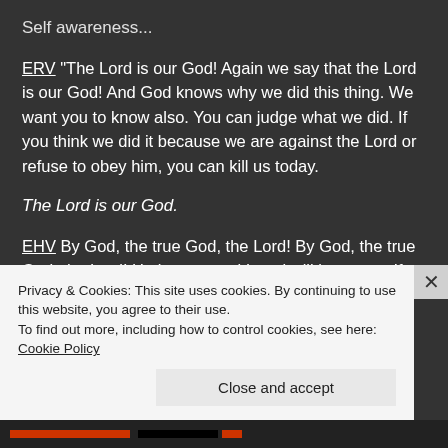Self awareness...
ERV "The Lord is our God! Again we say that the Lord is our God! And God knows why we did this thing. We want you to know also. You can judge what we did. If you think we did it because we are against the Lord or refuse to obey him, you can kill us today.
The Lord is our God.
EHV By God, the true God, the Lord! By God, the true God, the Lord! He knows, and Israel will know too. If we
Privacy & Cookies: This site uses cookies. By continuing to use this website, you agree to their use.
To find out more, including how to control cookies, see here: Cookie Policy
Close and accept